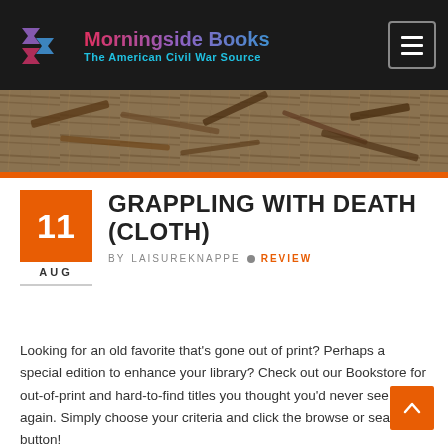Morningside Books — The American Civil War Source
[Figure (photo): Banner photo of debris, broken wood planks and straw/hay scattered on the ground]
GRAPPLING WITH DEATH (CLOTH)
BY LAISUREKNAPPE • REVIEW
Looking for an old favorite that's gone out of print? Perhaps a special edition to enhance your library? Check out our Bookstore for out-of-print and hard-to-find titles you thought you'd never see again. Simply choose your criteria and click the browse or search button!
This is the story of the hospital of the Union